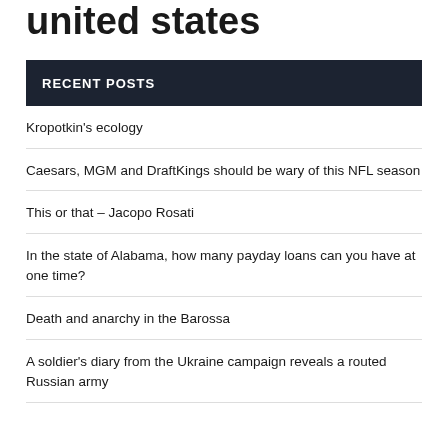united states
RECENT POSTS
Kropotkin's ecology
Caesars, MGM and DraftKings should be wary of this NFL season
This or that – Jacopo Rosati
In the state of Alabama, how many payday loans can you have at one time?
Death and anarchy in the Barossa
A soldier's diary from the Ukraine campaign reveals a routed Russian army